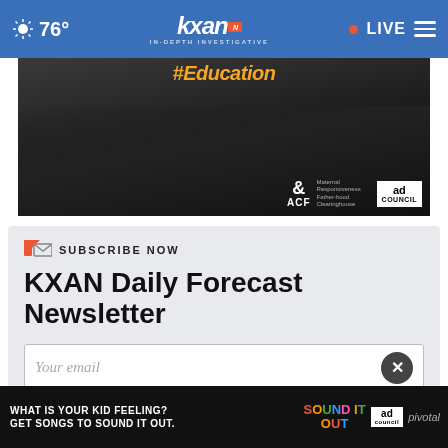76° KXAN IN-DEPTH INVESTIGATIVE LIVE
[Figure (photo): Dark advertisement banner showing a person's hands on a surface with text '#Education' at top and ACF/Ad Council logos at bottom right]
SUBSCRIBE NOW
KXAN Daily Forecast Newsletter
Your email
[Figure (photo): Bottom advertisement: 'WHAT IS YOUR KID FEELING? GET SONGS TO SOUND IT OUT.' with Sound It Out logo, Ad Council, and Pivotal branding]